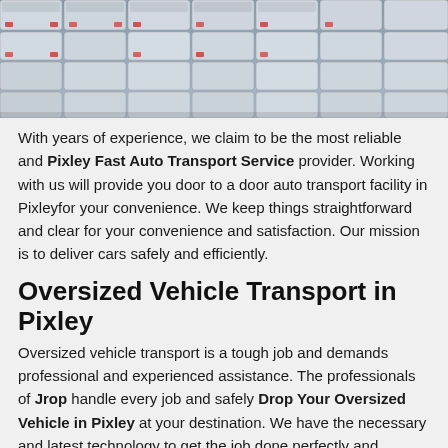[Figure (photo): Aerial/overhead view of a large parking lot filled with many white and light-colored cars packed closely together.]
With years of experience, we claim to be the most reliable and Pixley Fast Auto Transport Service provider. Working with us will provide you door to a door auto transport facility in Pixleyfor your convenience. We keep things straightforward and clear for your convenience and satisfaction. Our mission is to deliver cars safely and efficiently.
Oversized Vehicle Transport in Pixley
Oversized vehicle transport is a tough job and demands professional and experienced assistance. The professionals of Jrop handle every job and safely Drop Your Oversized Vehicle in Pixley at your destination. We have the necessary and latest technology to get the job done perfectly and completely.